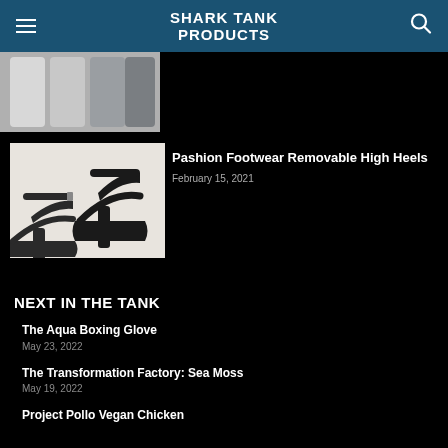SHARK TANK PRODUCTS
[Figure (photo): Partial image of socks/hosiery in grey tones at top of page]
[Figure (photo): Black high heel sandals with ankle strap on white background]
Pashion Footwear Removable High Heels
February 15, 2021
NEXT IN THE TANK
The Aqua Boxing Glove
May 23, 2022
The Transformation Factory: Sea Moss
May 19, 2022
Project Pollo Vegan Chicken